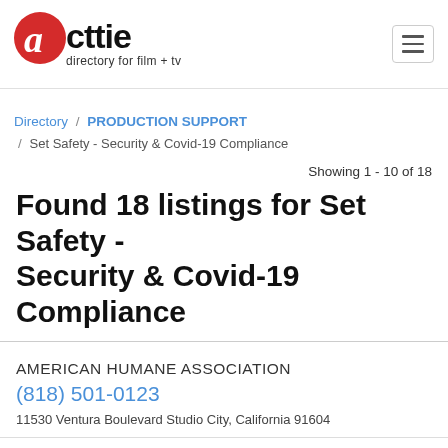acttie directory for film + tv
Directory / PRODUCTION SUPPORT / Set Safety - Security & Covid-19 Compliance
Showing 1 - 10 of 18
Found 18 listings for Set Safety - Security & Covid-19 Compliance
AMERICAN HUMANE ASSOCIATION
(818) 501-0123
11530 Ventura Boulevard Studio City, California 91604